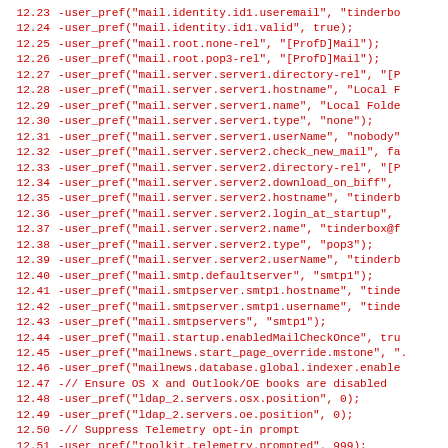12.23  -user_pref("mail.identity.id1.useremail", "tinderbo
12.24  -user_pref("mail.identity.id1.valid", true);
12.25  -user_pref("mail.root.none-rel", "[ProfD]Mail");
12.26  -user_pref("mail.root.pop3-rel", "[ProfD]Mail");
12.27  -user_pref("mail.server.server1.directory-rel", "[P
12.28  -user_pref("mail.server.server1.hostname", "Local F
12.29  -user_pref("mail.server.server1.name", "Local Folde
12.30  -user_pref("mail.server.server1.type", "none");
12.31  -user_pref("mail.server.server1.userName", "nobody"
12.32  -user_pref("mail.server.server2.check_new_mail", fa
12.33  -user_pref("mail.server.server2.directory-rel", "[P
12.34  -user_pref("mail.server.server2.download_on_biff",
12.35  -user_pref("mail.server.server2.hostname", "tinderb
12.36  -user_pref("mail.server.server2.login_at_startup",
12.37  -user_pref("mail.server.server2.name", "tinderbox@f
12.38  -user_pref("mail.server.server2.type", "pop3");
12.39  -user_pref("mail.server.server2.userName", "tinderb
12.40  -user_pref("mail.smtp.defaultserver", "smtp1");
12.41  -user_pref("mail.smtpserver.smtp1.hostname", "tinde
12.42  -user_pref("mail.smtpserver.smtp1.username", "tinde
12.43  -user_pref("mail.smtpservers", "smtp1");
12.44  -user_pref("mail.startup.enabledMailCheckOnce", tru
12.45  -user_pref("mailnews.start_page_override.mstone", "
12.46  -user_pref("mailnews.database.global.indexer.enable
12.47  -// Ensure OS X and Outlook/OE books are disabled
12.48  -user_pref("ldap_2.servers.osx.position", 0);
12.49  -user_pref("ldap_2.servers.oe.position", 0);
12.50  -// Suppress Telemetry opt-in prompt
12.51  -user_pref("toolkit.telemetry.prompted", 999);
12.52  -
12.53  -//
12.54  -// SeaMonkey preferences.